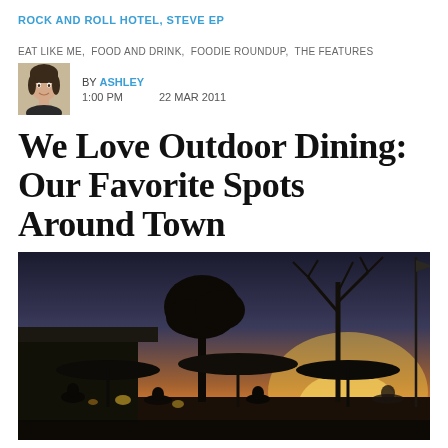ROCK AND ROLL HOTEL, STEVE EP
EAT LIKE ME, FOOD AND DRINK, FOODIE ROUNDUP, THE FEATURES
BY ASHLEY
1:00 PM    22 MAR 2011
We Love Outdoor Dining: Our Favorite Spots Around Town
[Figure (photo): Outdoor dining patio at dusk with silhouettes of trees, patio umbrellas, seated diners, and warm sunset glow in the background. A flagpole is visible on the right side.]